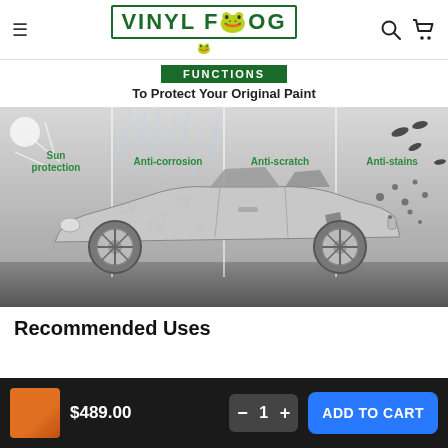Vinyl Frog — navigation header with menu, logo, search, and cart icons
[Figure (screenshot): Car vinyl protection infographic showing a sports car (Porsche 718) in grayscale divided into four vertical panels labeled: Sun protection, Anti-corrosion, Anti-scratch, Anti-stains. Above the car is a partially visible green banner and subtitle 'To Protect Your Original Paint'. The left panels show rain/sun effects, and the right panel shows debris hitting the car.]
Recommended Uses
$489.00  Quantity: 1  ADD TO CART